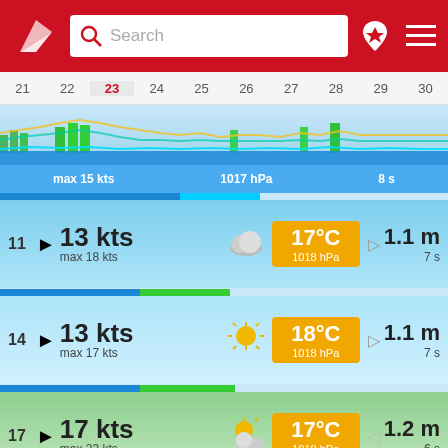[Figure (screenshot): App header with red background, triangular logo, search bar, location pin icon, and hamburger menu]
[Figure (other): Date strip showing days 21-30 with day 23 highlighted in red, wind/wave sparkline chart below]
max 15 kts   1017 hPa   8 s
11   13 kts   max 18 kts   17°C   1018 hPa   1.1 m   7 s
14   13 kts   max 17 kts   18°C   1018 hPa   1.1 m   7 s
17   17 kts   max 23 kts   17°C   1018 hPa   1.2 m   6 s
20   12 kts   max 20 kts   18°C   1018 hPa   1.1 m   6 s
23 (partial)   10 kts   18°C   1.1 m